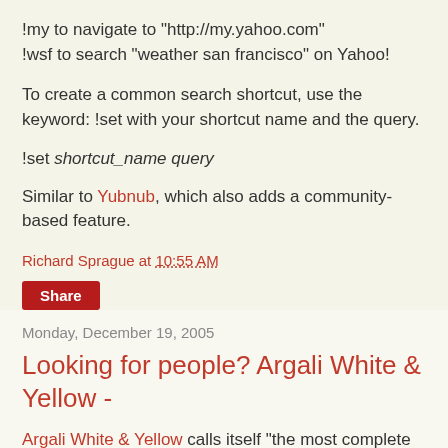!my to navigate to "http://my.yahoo.com"
!wsf to search "weather san francisco" on Yahoo!
To create a common search shortcut, use the keyword: !set with your shortcut name and the query.
!set shortcut_name query
Similar to Yubnub, which also adds a community-based feature.
Richard Sprague at 10:55 AM
Share
Monday, December 19, 2005
Looking for people? Argali White & Yellow -
Argali White & Yellow calls itself "the most complete and reliable phone directories search on the Internet" and was